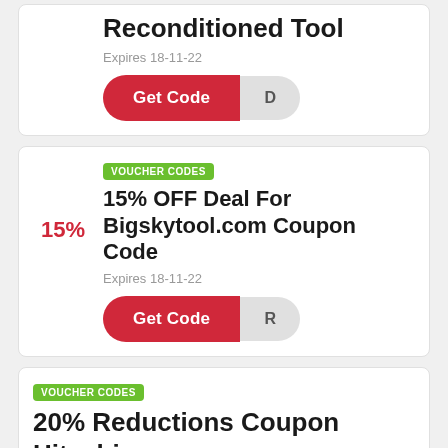Reconditioned Tool
Expires 18-11-22
Get Code
VOUCHER CODES
15% OFF Deal For Bigskytool.com Coupon Code
Expires 18-11-22
Get Code
VOUCHER CODES
20% Reductions Coupon Hitachi